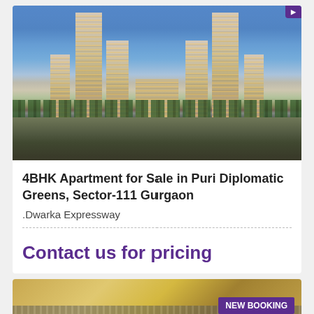[Figure (photo): Aerial/evening view of Puri Diplomatic Greens luxury high-rise apartment complex with multiple towers, landscaped grounds, palm trees, and a central entry area, against a blue sky.]
4BHK Apartment for Sale in Puri Diplomatic Greens, Sector-111 Gurgaon
.Dwarka Expressway
Contact us for pricing
[Figure (photo): Partial view of another property listing with a NEW BOOKING badge in purple.]